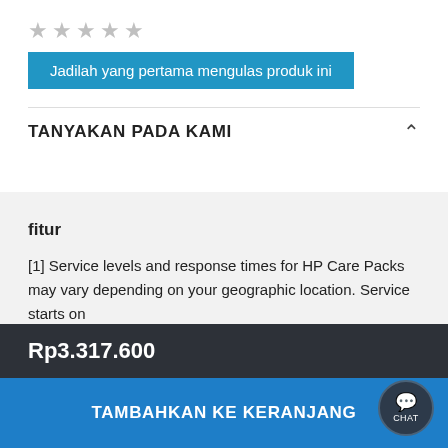[Figure (other): Five empty/grey star rating icons]
Jadilah yang pertama mengulas produk ini
TANYAKAN PADA KAMI
fitur
[1] Service levels and response times for HP Care Packs may vary depending on your geographic location. Service starts on
Rp3.317.600
TAMBAHKAN KE KERANJANG